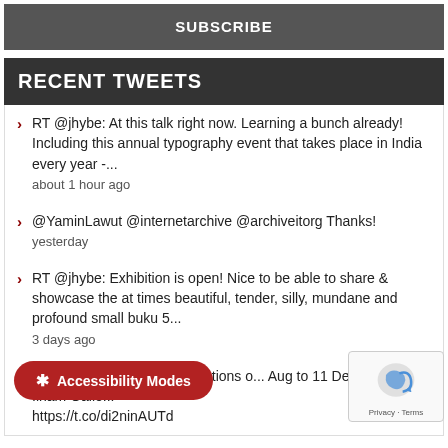SUBSCRIBE
RECENT TWEETS
RT @jhybe: At this talk right now. Learning a bunch already! Including this annual typography event that takes place in India every year -...
about 1 hour ago
@YaminLawut @internetarchive @archiveitorg Thanks!
yesterday
RT @jhybe: Exhibition is open! Nice to be able to share & showcase the at times beautiful, tender, silly, mundane and profound small buku 5...
3 days ago
y* Projek 555: Small observations o... Aug to 11 Dec 2022, Ilham Galle...
https://t.co/di2ninAUTd